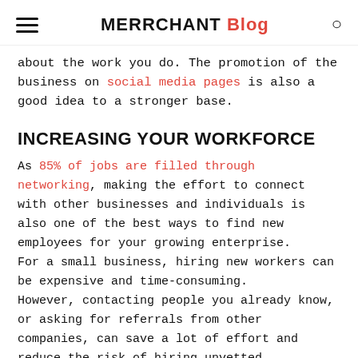MERRCHANT Blog
about the work you do. The promotion of the business on social media pages is also a good idea to a stronger base.
INCREASING YOUR WORKFORCE
As 85% of jobs are filled through networking, making the effort to connect with other businesses and individuals is also one of the best ways to find new employees for your growing enterprise.
For a small business, hiring new workers can be expensive and time-consuming.
However, contacting people you already know, or asking for referrals from other companies, can save a lot of effort and reduce the risk of hiring unvetted employees.